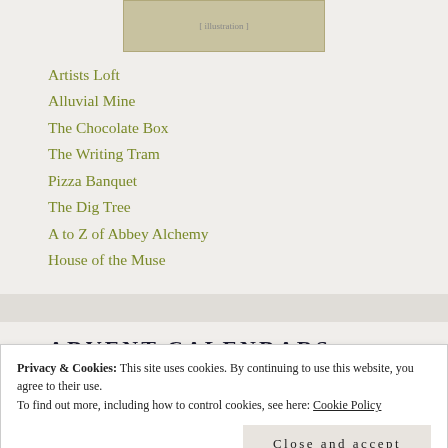[Figure (illustration): A historical engraving or illustration, appears to be a landscape or scene, partially visible at the top of the page.]
Artists Loft
Alluvial Mine
The Chocolate Box
The Writing Tram
Pizza Banquet
The Dig Tree
A to Z of Abbey Alchemy
House of the Muse
ADVENT CALENDARS
Privacy & Cookies: This site uses cookies. By continuing to use this website, you agree to their use.
To find out more, including how to control cookies, see here: Cookie Policy
Close and accept